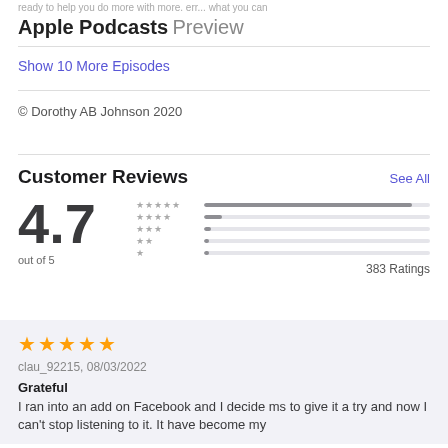ready to help you do more with more. err... what you can
Apple Podcasts Preview
Show 10 More Episodes
© Dorothy AB Johnson 2020
Customer Reviews
See All
[Figure (infographic): Rating display: 4.7 out of 5 with star bars showing distribution across 5 to 1 stars. 383 Ratings total. 5-star bar is nearly full, others are minimal.]
clau_92215, 08/03/2022
Grateful
I ran into an add on Facebook and I decide ms to give it a try and now I can't stop listening to it. It have become my